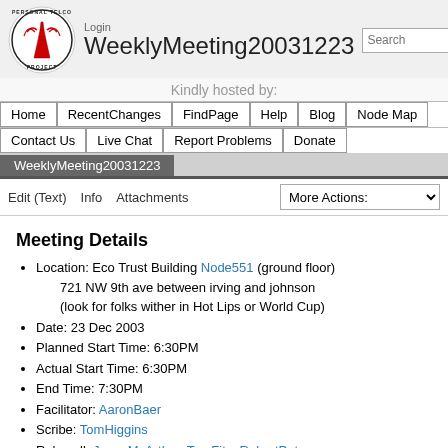WeeklyMeeting20031223 - Personal Telco Project wiki
WeeklyMeeting20031223
Kindly hosted by:
Home | RecentChanges | FindPage | Help | Blog | Node Map | Contact Us | Live Chat | Report Problems | Donate
WeeklyMeeting20031223
Edit (Text)  Info  Attachments  More Actions:
Meeting Details
Location: Eco Trust Building Node551 (ground floor)
721 NW 9th ave between irving and johnson
(look for folks wither in Hot Lips or World Cup)
Date: 23 Dec 2003
Planned Start Time: 6:30PM
Actual Start Time: 6:30PM
End Time: 7:30PM
Facilitator: AaronBaer
Scribe: TomHiggins
Role call: JasonMcArthur, TomFitz, RobertPetersen, AaronBaer, TomHiggins